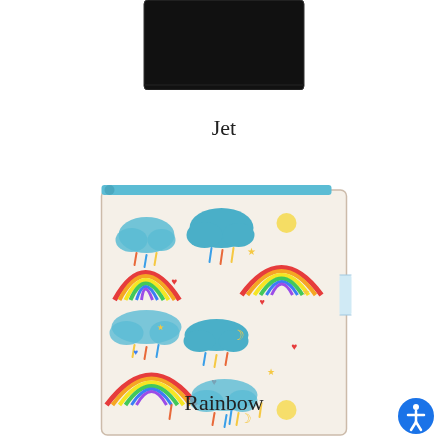[Figure (photo): Partial view of a black fabric bag or pouch at the top of the page, cropped]
Jet
[Figure (photo): A reusable wet bag with a rainbow and clouds pattern featuring teal clouds, colorful rainbows, hearts, stars, and rain drops on a cream/white background, with a blue zipper and a small white/blue label tag on the right side]
Rainbow